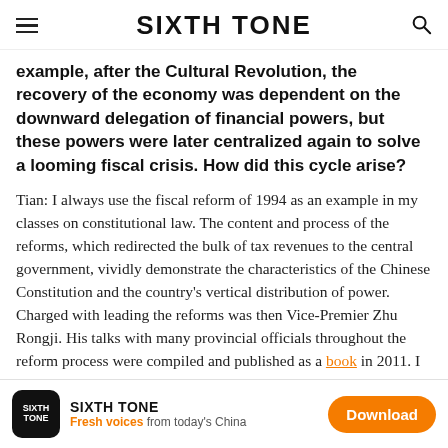SIXTH TONE
example, after the Cultural Revolution, the recovery of the economy was dependent on the downward delegation of financial powers, but these powers were later centralized again to solve a looming fiscal crisis. How did this cycle arise?
Tian: I always use the fiscal reform of 1994 as an example in my classes on constitutional law. The content and process of the reforms, which redirected the bulk of tax revenues to the central government, vividly demonstrate the characteristics of the Chinese Constitution and the country's vertical distribution of power. Charged with leading the reforms was then Vice-Premier Zhu Rongji. His talks with many provincial officials throughout the reform process were compiled and published as a book in 2011. I strongly recommend it to
SIXTH TONE — Fresh voices from today's China — Download